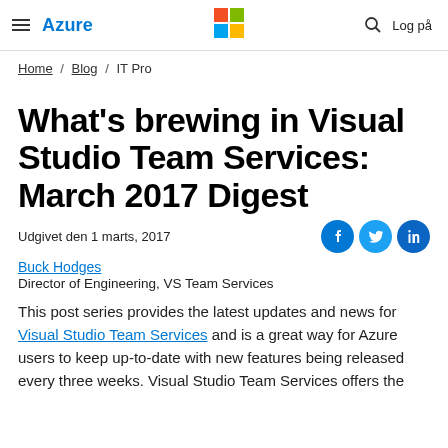Azure | Microsoft logo | Search | Log på
Home / Blog / IT Pro
What's brewing in Visual Studio Team Services: March 2017 Digest
Udgivet den 1 marts, 2017
Buck Hodges
Director of Engineering, VS Team Services
This post series provides the latest updates and news for Visual Studio Team Services and is a great way for Azure users to keep up-to-date with new features being released every three weeks. Visual Studio Team Services offers the